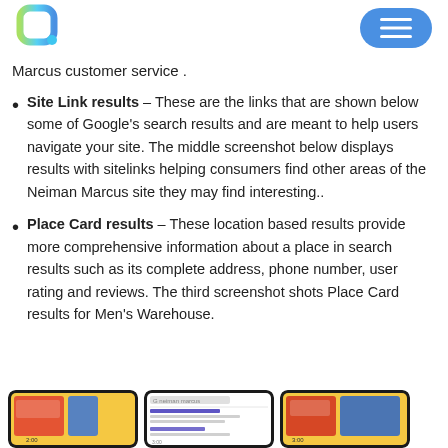[Logo] [Menu button]
Marcus customer service .
Site Link results – These are the links that are shown below some of Google's search results and are meant to help users navigate your site. The middle screenshot below displays results with sitelinks helping consumers find other areas of the Neiman Marcus site they may find interesting..
Place Card results – These location based results provide more comprehensive information about a place in search results such as its complete address, phone number, user rating and reviews. The third screenshot shots Place Card results for Men's Warehouse.
[Figure (screenshot): Three mobile phone screenshots showing Google search results at the bottom of the page]